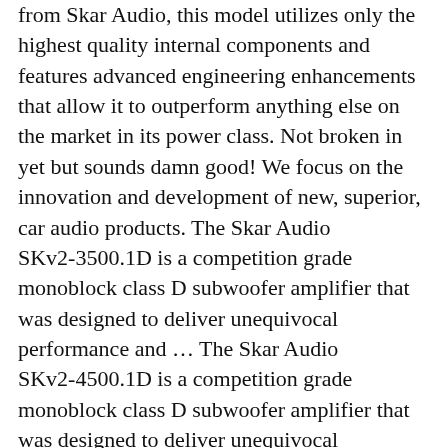from Skar Audio, this model utilizes only the highest quality internal components and features advanced engineering enhancements that allow it to outperform anything else on the market in its power class. Not broken in yet but sounds damn good! We focus on the innovation and development of new, superior, car audio products. The Skar Audio SKv2-3500.1D is a competition grade monoblock class D subwoofer amplifier that was designed to deliver unequivocal performance and … The Skar Audio SKv2-4500.1D is a competition grade monoblock class D subwoofer amplifier that was designed to deliver unequivocal performance and power output. Highly recommended! The RP-3500.1D is one of the two newest additions to the popular RP amplifier lineup from Skar Audio. I have to be careful not to destroy my SRT8 Jeep. Conservatively rated at 3,500